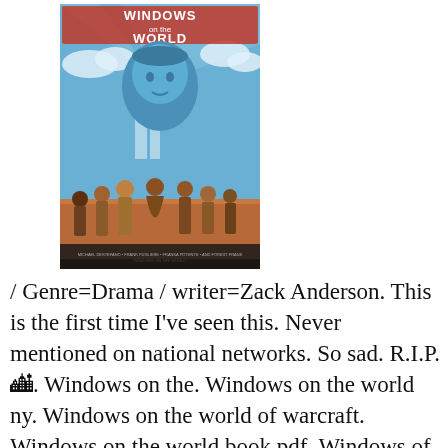[Figure (illustration): Movie poster for 'Windows on the World' — a stylized poster with blue tones showing a large illustrated face at the top (man with short hair), the Twin Towers in the background, and a group of people standing at the bottom in period clothing. The title 'WINDOWS on the WORLD' is displayed prominently at the top in red and white text.]
/ Genre=Drama / writer=Zack Anderson. This is the first time I've seen this. Never mentioned on national networks. So sad. R.I.P. 🏙. Windows on the. Windows on the world ny. Windows on the world of warcraft. Windows on the world book pdf. Windows of the world as we know. Windows on the world christian. Windows on the world bar. 9:46 That guy saying